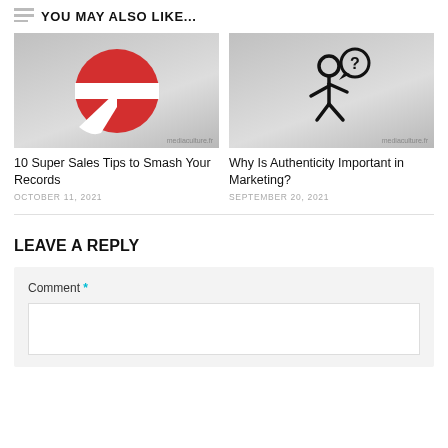YOU MAY ALSO LIKE...
[Figure (illustration): Super Smash Bros logo – red circle with white cross/stripe on grey gradient background]
10 Super Sales Tips to Smash Your Records
OCTOBER 11, 2021
[Figure (illustration): Stick figure person with question mark speech bubble, on grey gradient background]
Why Is Authenticity Important in Marketing?
SEPTEMBER 20, 2021
LEAVE A REPLY
Comment *